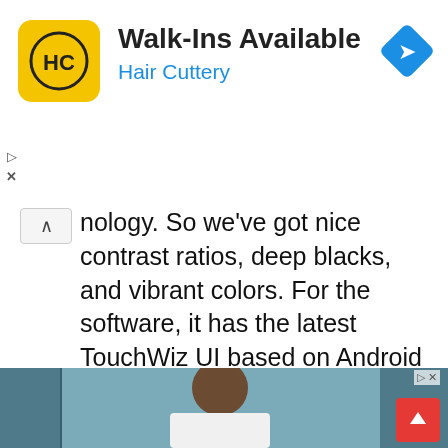[Figure (screenshot): Hair Cuttery advertisement banner with yellow logo showing HC initials, text 'Walk-Ins Available' and 'Hair Cuttery' in blue, and a blue navigation diamond icon on the right]
nology. So we've got nice contrast ratios, deep blacks, and vibrant colors. For the software, it has the latest TouchWiz UI based on Android 6.
[Figure (photo): A man in a white lab coat with glasses standing in a laboratory with arms crossed, wearing teal gloves, with laboratory equipment visible in the background]